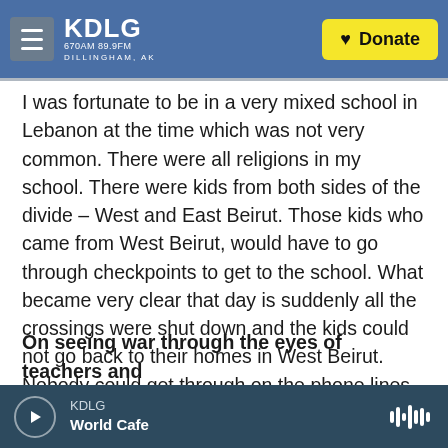KDLG 670AM 89.9FM DILLINGHAM, AK | Donate
I was fortunate to be in a very mixed school in Lebanon at the time which was not very common. There were all religions in my school. There were kids from both sides of the divide – West and East Beirut. Those kids who came from West Beirut, would have to go through checkpoints to get to the school. What became very clear that day is suddenly all the crossings were shut down and the kids could not go back to their homes in West Beirut. Nobody could get through on the phone lines.
On seeing war through the eyes of teachers and
KDLG | World Cafe